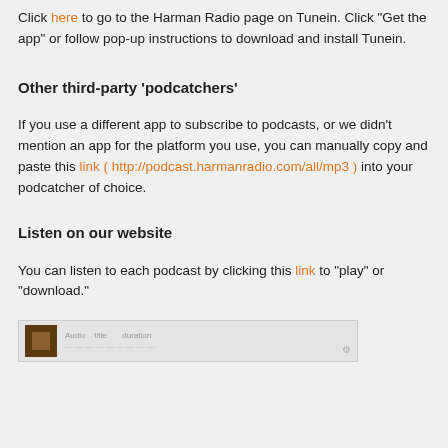Click here to go to the Harman Radio page on Tunein. Click “Get the app” or follow pop-up instructions to download and install Tunein.
Other third-party ‘podcatchers’
If you use a different app to subscribe to podcasts, or we didn’t mention an app for the platform you use, you can manually copy and paste this link ( http://podcast.harmanradio.com/all/mp3 ) into your podcatcher of choice.
Listen on our website
You can listen to each podcast by clicking this link to “play” or “download.”
[Figure (screenshot): A small podcast player thumbnail with a dark icon and text labels for audio controls, positioned at the bottom left of the page.]